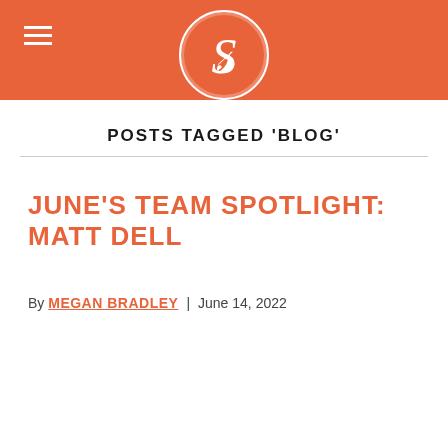hamburger menu icon and logo
POSTS TAGGED 'BLOG'
JUNE'S TEAM SPOTLIGHT: MATT DELL
By MEGAN BRADLEY | June 14, 2022